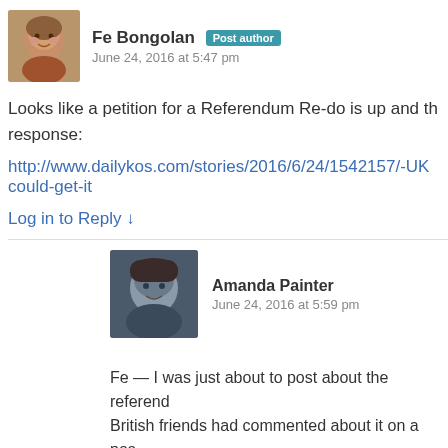Fe Bongolan Post author
June 24, 2016 at 5:47 pm
Looks like a petition for a Referendum Re-do is up and the response:
http://www.dailykos.com/stories/2016/6/24/1542157/-UK could-get-it
Log in to Reply ↓
Amanda Painter
June 24, 2016 at 5:59 pm
Fe — I was just about to post about the referendum. British friends had commented about it on a post
"Currently petitioning for a 2nd referendum, as th